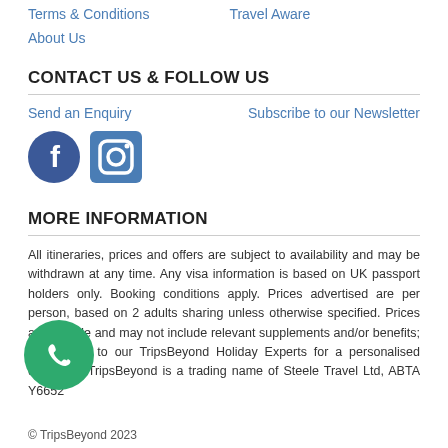Terms & Conditions
Travel Aware
About Us
CONTACT US & FOLLOW US
Send an Enquiry
Subscribe to our Newsletter
[Figure (logo): Facebook circular icon (blue with white 'f')]
[Figure (logo): Instagram square icon (blue/teal with camera outline)]
MORE INFORMATION
All itineraries, prices and offers are subject to availability and may be withdrawn at any time. Any visa information is based on UK passport holders only. Booking conditions apply. Prices advertised are per person, based on 2 adults sharing unless otherwise specified. Prices are a guide and may not include relevant supplements and/or benefits; please call to our TripsBeyond Holiday Experts for a personalised quotation. TripsBeyond is a trading name of Steele Travel Ltd, ABTA Y6652
[Figure (logo): Green circular phone/call icon]
© TripsBeyond 2023